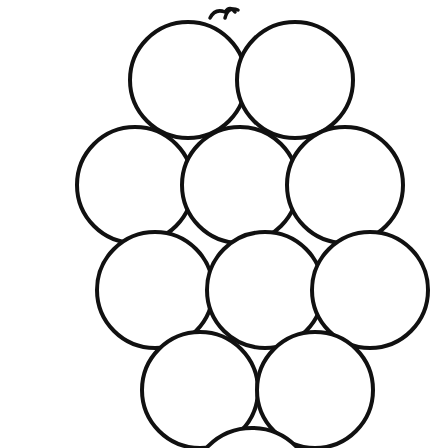[Figure (illustration): Line drawing / coloring page of a bunch of grapes. Multiple overlapping circles arranged in a triangular cluster with a small curly vine at the top. Black outlines on white background.]
fruit-coloring-pages.gif (718×957) Obst-Ausmalbilder.gif (718 × 957)
Read More »
Blumen Bilder – Google-Suche – Quilts